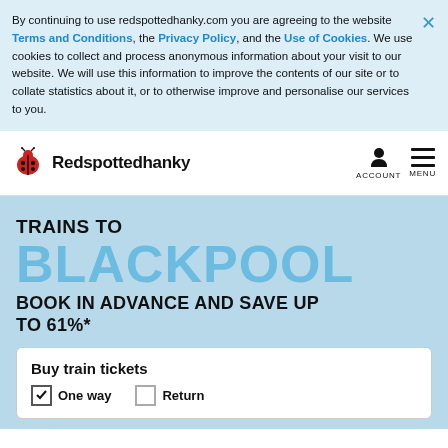By continuing to use redspottedhanky.com you are agreeing to the website Terms and Conditions, the Privacy Policy, and the Use of Cookies. We use cookies to collect and process anonymous information about your visit to our website. We will use this information to improve the contents of our site or to collate statistics about it, or to otherwise improve and personalise our services to you.
[Figure (logo): Redspottedhanky logo with red ladybird icon and bold text 'Redspottedhanky']
TRAINS TO BLACKPOOL
BOOK IN ADVANCE AND SAVE UP TO 61%*
Buy train tickets
One way    Return